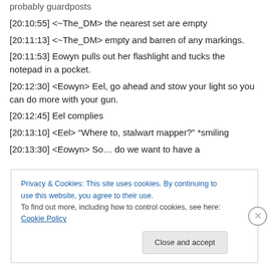probably guardposts
[20:10:55] <~The_DM> the nearest set are empty
[20:11:13] <~The_DM> empty and barren of any markings.
[20:11:53] Eowyn pulls out her flashlight and tucks the notepad in a pocket.
[20:12:30] <Eowyn> Eel, go ahead and stow your light so you can do more with your gun.
[20:12:45] Eel complies
[20:13:10] <Eel> “Where to, stalwart mapper?” *smiling
[20:13:30] <Eowyn> So… do we want to have a
Privacy & Cookies: This site uses cookies. By continuing to use this website, you agree to their use.
To find out more, including how to control cookies, see here: Cookie Policy